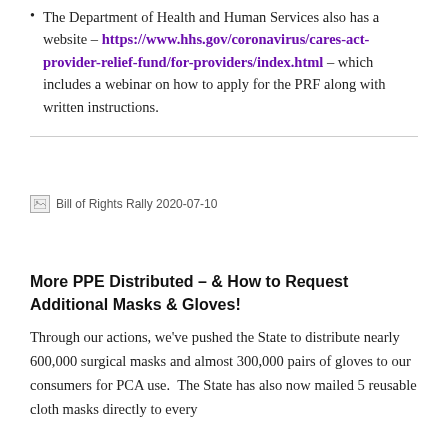The Department of Health and Human Services also has a website – https://www.hhs.gov/coronavirus/cares-act-provider-relief-fund/for-providers/index.html – which includes a webinar on how to apply for the PRF along with written instructions.
[Figure (photo): Broken image placeholder with alt text: Bill of Rights Rally 2020-07-10]
More PPE Distributed – & How to Request Additional Masks & Gloves!
Through our actions, we've pushed the State to distribute nearly 600,000 surgical masks and almost 300,000 pairs of gloves to our consumers for PCA use.  The State has also now mailed 5 reusable cloth masks directly to every